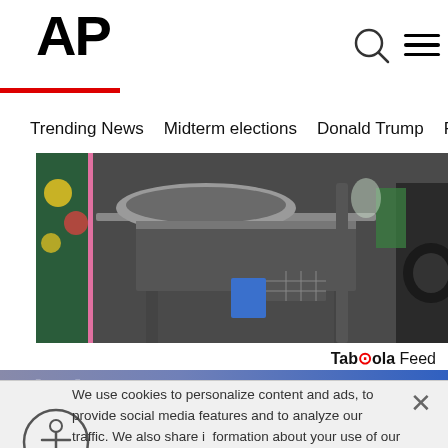[Figure (logo): AP (Associated Press) logo in black bold text with red underline bar]
Trending News   Midterm elections   Donald Trump   Russia-Ukr
[Figure (photo): Street food vendor scene with cooking equipment, pots and wok on a cart, colorful oven mitt visible on left]
Taboola Feed
[Figure (screenshot): Partial banner with large white text partially visible behind cookie consent overlay]
We use cookies to personalize content and ads, to provide social media features and to analyze our traffic. We also share information about your use of our site with our social media, advertising and analytics partners. Privacy Policy
Cookies Settings
Accept All Cookies